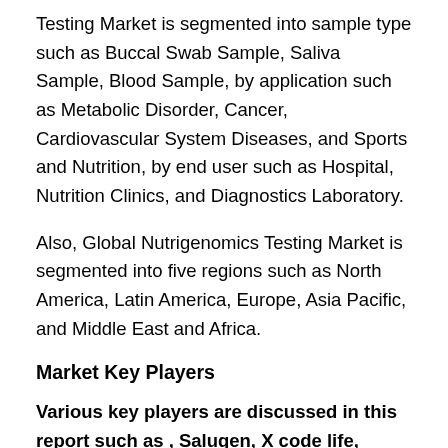Testing Market is segmented into sample type such as Buccal Swab Sample, Saliva Sample, Blood Sample, by application such as Metabolic Disorder, Cancer, Cardiovascular System Diseases, and Sports and Nutrition, by end user such as Hospital, Nutrition Clinics, and Diagnostics Laboratory.
Also, Global Nutrigenomics Testing Market is segmented into five regions such as North America, Latin America, Europe, Asia Pacific, and Middle East and Africa.
Market Key Players
Various key players are discussed in this report such as , Salugen, X code life, Interleukin Genetics, NutroGene, Metagenics, CURA...